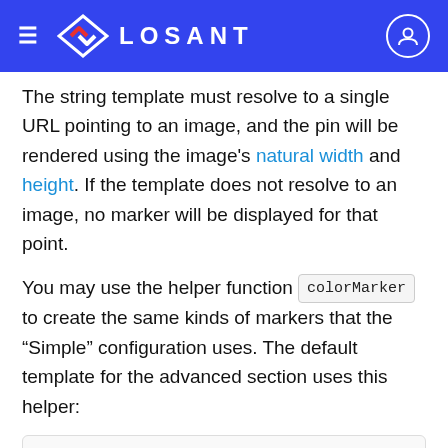LOSANT
The string template must resolve to a single URL pointing to an image, and the pin will be rendered using the image's natural width and height. If the template does not resolve to an image, no marker will be displayed for that point.
You may use the helper function colorMarker to create the same kinds of markers that the "Simple" configuration uses. The default template for the advanced section uses this helper:
{{#if isLastPoint}}